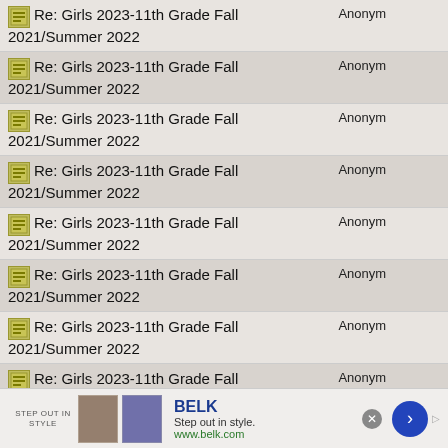| Subject | Author |
| --- | --- |
| Re: Girls 2023-11th Grade Fall 2021/Summer 2022 | Anonym |
| Re: Girls 2023-11th Grade Fall 2021/Summer 2022 | Anonym |
| Re: Girls 2023-11th Grade Fall 2021/Summer 2022 | Anonym |
| Re: Girls 2023-11th Grade Fall 2021/Summer 2022 | Anonym |
| Re: Girls 2023-11th Grade Fall 2021/Summer 2022 | Anonym |
| Re: Girls 2023-11th Grade Fall 2021/Summer 2022 | Anonym |
| Re: Girls 2023-11th Grade Fall 2021/Summer 2022 | Anonym |
| Re: Girls 2023-11th Grade Fall 2021/Summer 2022 | Anonym |
[Figure (screenshot): Advertisement banner for BELK department store. Shows 'Step out in style.' tagline and www.belk.com URL, with two product images and a blue arrow button.]